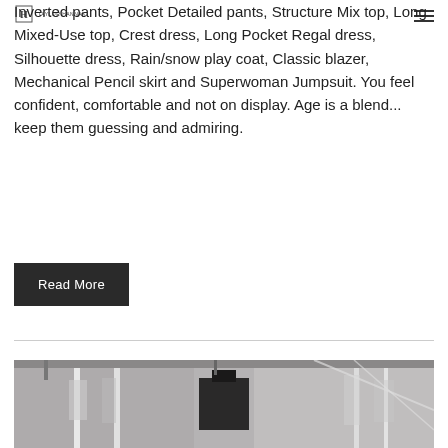TAYLOR HANNAK (logo)
Inverted pants, Pocket Detailed pants, Structure Mix top, Long Mixed-Use top, Crest dress, Long Pocket Regal dress, Silhouette dress, Rain/snow play coat, Classic blazer, Mechanical Pencil skirt and Superwoman Jumpsuit. You feel confident, comfortable and not on display. Age is a blend... keep them guessing and admiring.
Read More
[Figure (photo): Interior retail or showroom space with white walls, hanging garments or accessories on white vertical poles/hooks, industrial ceiling details visible, black display fixture in center.]